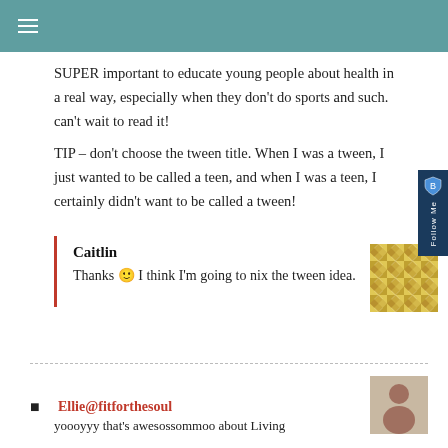≡
SUPER important to educate young people about health in a real way, especially when they don't do sports and such. can't wait to read it!
TIP – don't choose the tween title. When I was a tween, I just wanted to be called a teen, and when I was a teen, I certainly didn't want to be called a tween!
Caitlin
Thanks 🙂 I think I'm going to nix the tween idea.
Ellie@fitforthesoul
yoooyyy that's awesossommoo about Living